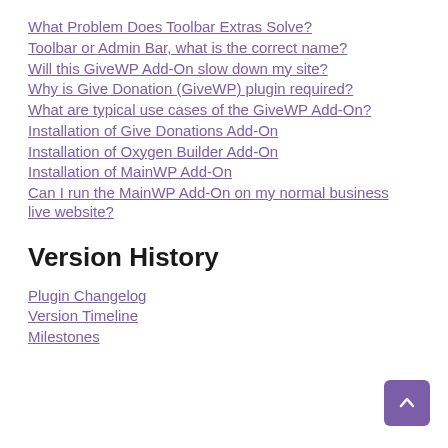What Problem Does Toolbar Extras Solve?
Toolbar or Admin Bar, what is the correct name?
Will this GiveWP Add-On slow down my site?
Why is Give Donation (GiveWP) plugin required?
What are typical use cases of the GiveWP Add-On?
Installation of Give Donations Add-On
Installation of Oxygen Builder Add-On
Installation of MainWP Add-On
Can I run the MainWP Add-On on my normal business live website?
Version History
Plugin Changelog
Version Timeline
Milestones